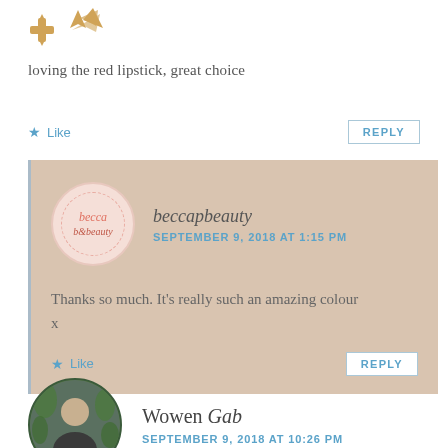[Figure (illustration): Partial golden/brown decorative icon or logo at top left]
loving the red lipstick, great choice
★ Like    REPLY
beccapbeauty
SEPTEMBER 9, 2018 AT 1:15 PM
Thanks so much. It's really such an amazing colour
x
★ Like    REPLY
Wowen Gab
SEPTEMBER 9, 2018 AT 10:26 PM